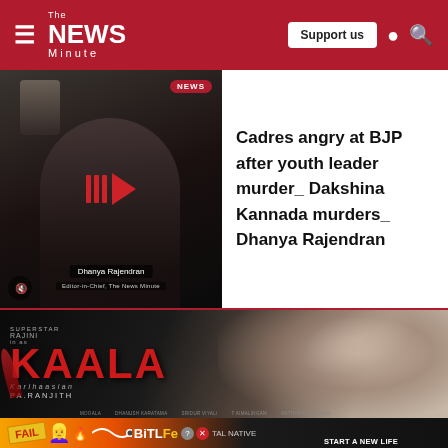The News Minute — Support us
[Figure (screenshot): Video thumbnail of woman reporter Dhanya Rajendran with play button overlay and NEWS badge]
Cadres angry at BJP after youth leader murder_ Dakshina Kannada murders_ Dhanya Rajendran
[Figure (photo): Movie promotional poster for KAALA (Karihaasan) featuring Superstar Rajini, directed by PA Ranjith — dark atmospheric poster with large red KAALA text and Rajinikanth's face]
[Figure (screenshot): BitLife game advertisement banner: FAIL badge, cartoon character, fire emojis, BitLife logo, START A NEW LIFE text, TAL NATIVE label]